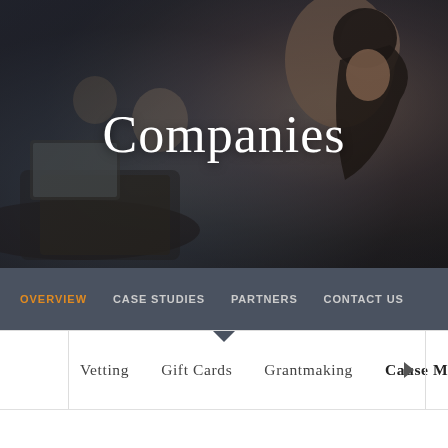[Figure (photo): Hero image of people working on laptops in an office setting, with a dark overlay. A woman with dark hair is prominently visible on the right side looking at a laptop.]
Companies
OVERVIEW   CASE STUDIES   PARTNERS   CONTACT US
Vetting   Gift Cards   Grantmaking   Cause Marketing